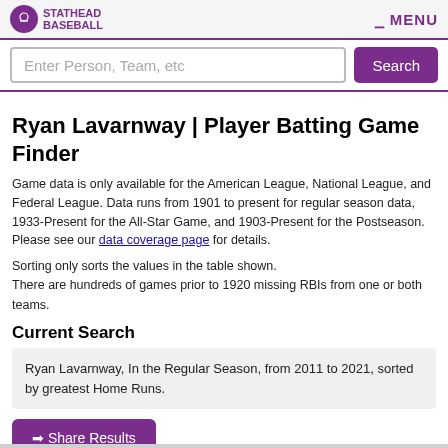Stathead Baseball — MENU
Enter Person, Team, etc
Ryan Lavarnway | Player Batting Game Finder
Game data is only available for the American League, National League, and Federal League. Data runs from 1901 to present for regular season data, 1933-Present for the All-Star Game, and 1903-Present for the Postseason. Please see our data coverage page for details.
Sorting only sorts the values in the table shown.
There are hundreds of games prior to 1920 missing RBIs from one or both teams.
Current Search
Ryan Lavarnway, In the Regular Season, from 2011 to 2021, sorted by greatest Home Runs.
➨ Share Results